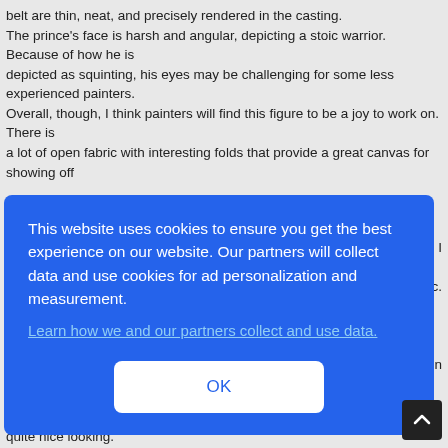belt are thin, neat, and precisely rendered in the casting. The prince's face is harsh and angular, depicting a stoic warrior. Because of how he is depicted as squinting, his eyes may be challenging for some less experienced painters. Overall, though, I think painters will find this figure to be a joy to work on. There is a lot of open fabric with interesting folds that provide a great canvas for showing off
[Figure (other): Cookie consent overlay banner on a website. Blue rounded rectangle with white text: 'This website uses cookies to ensure you get the best experience on our website. Our partners will collect data and use cookies for ad personalization and measurement.' followed by a link 'Learn how we and our partners collect and use data.' and an OK button.]
quite nice looking.